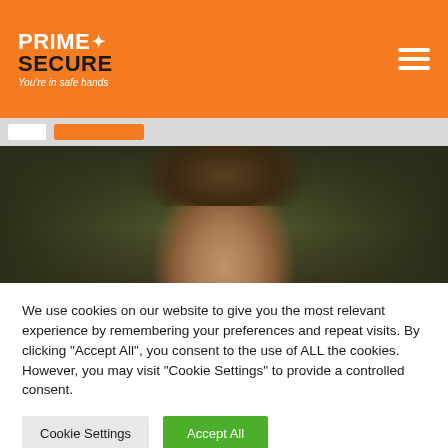PRIME+ SECURE — You're in safe hands
[Figure (photo): Close-up photo of a young man's face with brown hair against a dark background]
We use cookies on our website to give you the most relevant experience by remembering your preferences and repeat visits. By clicking "Accept All", you consent to the use of ALL the cookies. However, you may visit "Cookie Settings" to provide a controlled consent.
Cookie Settings | Accept All